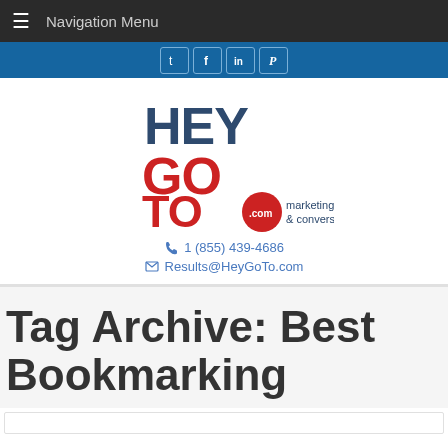Navigation Menu
[Figure (logo): Social media icons bar: Twitter, Facebook, LinkedIn, Pinterest on blue background]
[Figure (logo): HeyGoTo.com marketing & conversions logo with HEY in dark blue, GO TO in red, .com in red circle]
1 (855) 439-4686
Results@HeyGoTo.com
Tag Archive: Best Bookmarking